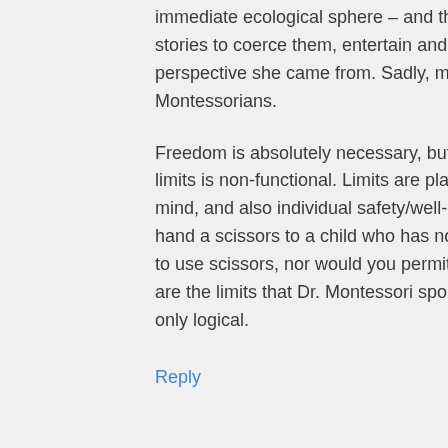immediate ecological sphere – and that adults had to use fantastical stories to coerce them, entertain and control them. This is the perspective she came from. Sadly, many do not know this, even Montessorians.
Freedom is absolutely necessary, but so are limits. Freedom without limits is non-functional. Limits are placed with collective interest in mind, and also individual safety/well-being. One would definitely not hand a scissors to a child who has not learned the skills necessary to use scissors, nor would you permit a child to hurt another. These are the limits that Dr. Montessori spoke of, and I believe they are only logical.
Reply